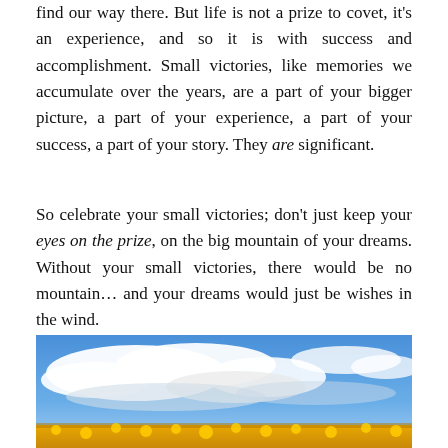find our way there. But life is not a prize to covet, it's an experience, and so it is with success and accomplishment. Small victories, like memories we accumulate over the years, are a part of your bigger picture, a part of your experience, a part of your success, a part of your story. They are significant.
So celebrate your small victories; don't just keep your eyes on the prize, on the big mountain of your dreams. Without your small victories, there would be no mountain... and your dreams would just be wishes in the wind.
[Figure (photo): Landscape photo showing a blue sky with white clouds and a yellow field or sunflowers in the lower portion.]